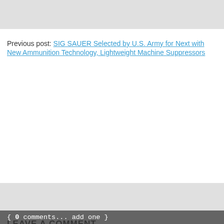Previous post: SIG SAUER Selected by U.S. Army for Next with New Ammunition Technology, Lightweight Machine Suppressors
{ 0 comments... add one }
LEAVE A COMMENT